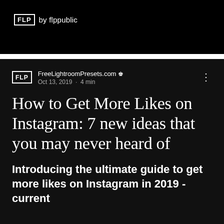FLP by flppublic
FreeLightroomPresets.com 👑
Oct 13, 2019 · 4 min
How to Get More Likes on Instagram: 7 new ideas that you may never heard of
Introducing the ultimate guide to get more likes on Instagram in 2019 - current